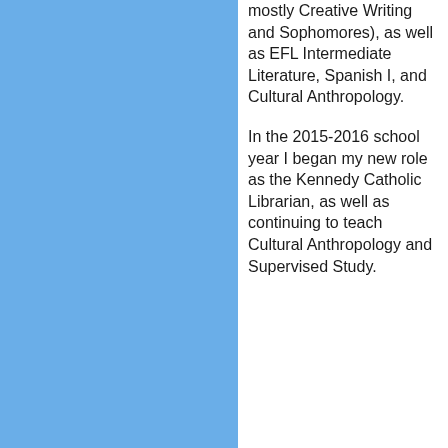mostly Creative Writing and Sophomores), as well as EFL Intermediate Literature, Spanish I, and Cultural Anthropology.
In the 2015-2016 school year I began my new role as the Kennedy Catholic Librarian, as well as continuing to teach Cultural Anthropology and Supervised Study.